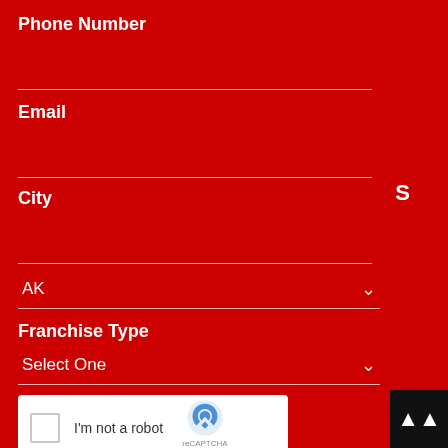Phone Number
Email
City
S
AK
Franchise Type
Select One
[Figure (other): reCAPTCHA widget with checkbox labeled 'I'm not a robot']
[Figure (other): Back to top button arrow icon on dark background]